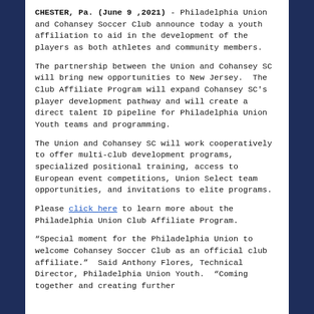CHESTER, Pa. (June 9 ,2021) - Philadelphia Union and Cohansey Soccer Club announce today a youth affiliation to aid in the development of the players as both athletes and community members.
The partnership between the Union and Cohansey SC will bring new opportunities to New Jersey.  The Club Affiliate Program will expand Cohansey SC's player development pathway and will create a direct talent ID pipeline for Philadelphia Union Youth teams and programming.
The Union and Cohansey SC will work cooperatively to offer multi-club development programs, specialized positional training, access to European event competitions, Union Select team opportunities, and invitations to elite programs.
Please click here to learn more about the Philadelphia Union Club Affiliate Program.
"Special moment for the Philadelphia Union to welcome Cohansey Soccer Club as an official club affiliate."  Said Anthony Flores, Technical Director, Philadelphia Union Youth.  "Coming together and creating further